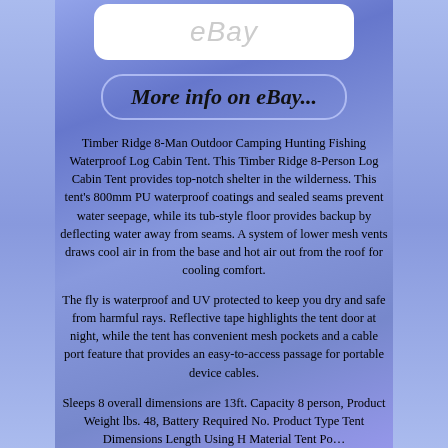[Figure (logo): eBay logo placeholder in white rounded rectangle]
More info on eBay...
Timber Ridge 8-Man Outdoor Camping Hunting Fishing Waterproof Log Cabin Tent. This Timber Ridge 8-Person Log Cabin Tent provides top-notch shelter in the wilderness. This tent's 800mm PU waterproof coatings and sealed seams prevent water seepage, while its tub-style floor provides backup by deflecting water away from seams. A system of lower mesh vents draws cool air in from the base and hot air out from the roof for cooling comfort.
The fly is waterproof and UV protected to keep you dry and safe from harmful rays. Reflective tape highlights the tent door at night, while the tent has convenient mesh pockets and a cable port feature that provides an easy-to-access passage for portable device cables.
Sleeps 8 overall dimensions are 13ft. Capacity 8 person, Product Weight lbs. 48, Battery Required No. Product Type Tent Dimensions Length Using H Material Tent Pol